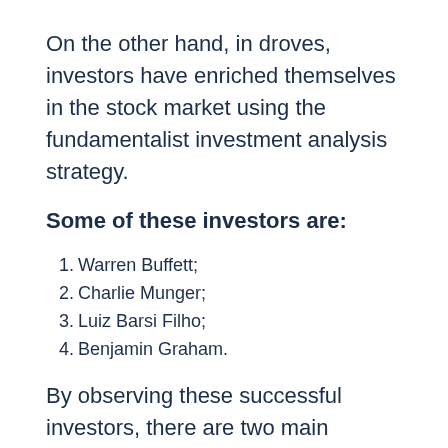On the other hand, in droves, investors have enriched themselves in the stock market using the fundamentalist investment analysis strategy.
Some of these investors are:
Warren Buffett;
Charlie Munger;
Luiz Barsi Filho;
Benjamin Graham.
By observing these successful investors, there are two main characteristics between them: white hair or bald head. And this is no for nothing; after all, the success achieved in investments came over the decades and with the effect of compound interest on investments